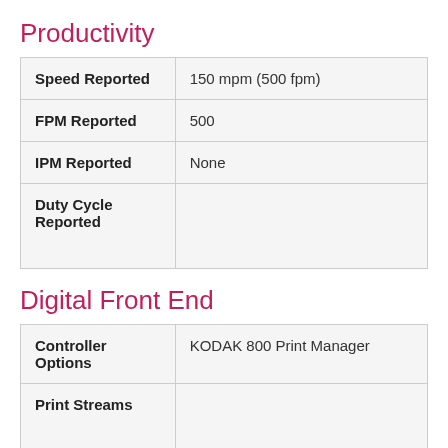Productivity
|  |  |
| --- | --- |
| Speed Reported | 150 mpm (500 fpm) |
| FPM Reported | 500 |
| IPM Reported | None |
| Duty Cycle Reported |  |
Digital Front End
|  |  |
| --- | --- |
| Controller Options | KODAK 800 Print Manager |
| Print Streams |  |
Imaging System